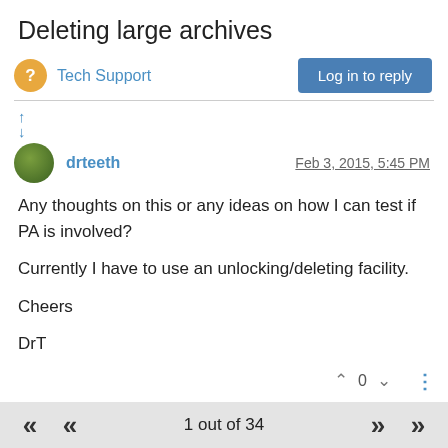Deleting large archives
Tech Support
Log in to reply
drteeth   Feb 3, 2015, 5:45 PM
Any thoughts on this or any ideas on how I can test if PA is involved?

Currently I have to use an unlocking/deleting facility.

Cheers

DrT
^ 0 v
spwolf  CONEXWARE   Feb 3, 2015, 10:23 PM
1 out of 34